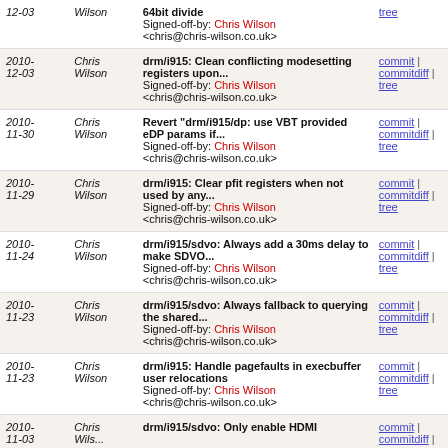| Date | Author | Commit | Links |
| --- | --- | --- | --- |
| 2010-12-03 | Chris Wilson | 64bit divide
Signed-off-by: Chris Wilson <chris@chris-wilson.co.uk> | tree |
| 2010-12-03 | Chris Wilson | drm/i915: Clean conflicting modesetting registers upon...
Signed-off-by: Chris Wilson <chris@chris-wilson.co.uk> | commit | commitdiff | tree |
| 2010-11-30 | Chris Wilson | Revert "drm/i915/dp: use VBT provided eDP params if...
Signed-off-by: Chris Wilson <chris@chris-wilson.co.uk> | commit | commitdiff | tree |
| 2010-11-29 | Chris Wilson | drm/i915: Clear pfit registers when not used by any...
Signed-off-by: Chris Wilson <chris@chris-wilson.co.uk> | commit | commitdiff | tree |
| 2010-11-24 | Chris Wilson | drm/i915/sdvo: Always add a 30ms delay to make SDVO...
Signed-off-by: Chris Wilson <chris@chris-wilson.co.uk> | commit | commitdiff | tree |
| 2010-11-23 | Chris Wilson | drm/i915/sdvo: Always fallback to querying the shared...
Signed-off-by: Chris Wilson <chris@chris-wilson.co.uk> | commit | commitdiff | tree |
| 2010-11-23 | Chris Wilson | drm/i915: Handle pagefaults in execbuffer user relocations
Signed-off-by: Chris Wilson <chris@chris-wilson.co.uk> | commit | commitdiff | tree |
| 2010-11-03 | Chris Wilson | drm/i915/sdvo: Only enable HDMI... | commit | commitdiff |